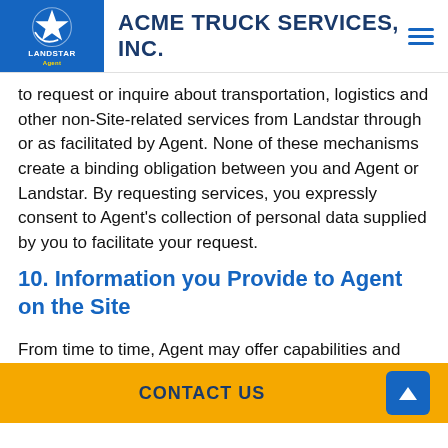ACME TRUCK SERVICES, INC.
to request or inquire about transportation, logistics and other non-Site-related services from Landstar through or as facilitated by Agent. None of these mechanisms create a binding obligation between you and Agent or Landstar. By requesting services, you expressly consent to Agent’s collection of personal data supplied by you to facilitate your request.
10. Information you Provide to Agent on the Site
From time to time, Agent may offer capabilities and features on the Site that enable you to submit suggestions and ideas (“Suggestions”) to Agent via email about ways in which Agent may improve or
CONTACT US